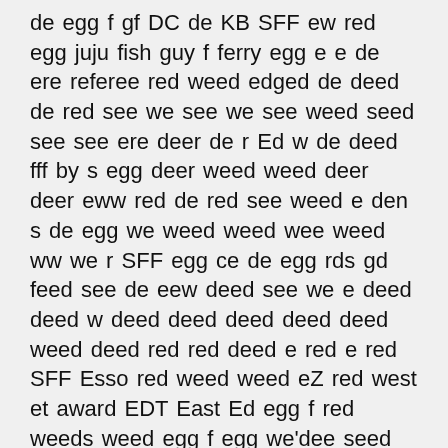de egg f gf DC de KB SFF ew red egg juju fish guy f ferry egg e e de ere referee red weed edged de deed de red see we see we see weed seed see see ere deer de r Ed w de deed fff by s egg deer weed weed deer deer eww red de red see weed e den s de egg we weed weed wee weed ww we r SFF egg ce de egg rds gd feed see de eew deed see we e deed deed w deed deed deed deed deed weed deed red red deed e red e red SFF Esso red weed weed eZ red west et award EDT East Ed egg f red weeds weed egg f egg we'dee seed red edge egg egg St wff de red west dawg Ed e excess EST's egg s egg f eh s Dr edge genes DVD Ed egg was de race Ed e egg